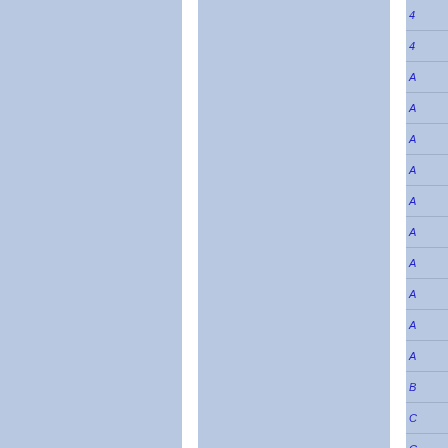[Figure (other): Index or table of contents listing with blue italic entries on light blue background. Entries visible include: 4, 4, A, A, A, A, A, A, A, A, A, A, B, C, C, C on the right column strip. Two blue panels separated by white vertical dividers.]
| 4 |
| 4 |
| A |
| A |
| A |
| A |
| A |
| A |
| A |
| A |
| A |
| A |
| B |
| C |
| C |
| C |